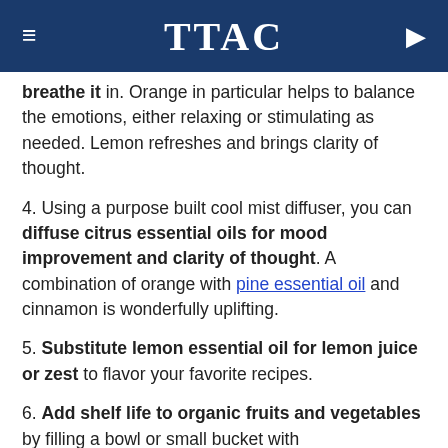TTAC
breathe it in. Orange in particular helps to balance the emotions, either relaxing or stimulating as needed. Lemon refreshes and brings clarity of thought.
4. Using a purpose built cool mist diffuser, you can diffuse citrus essential oils for mood improvement and clarity of thought. A combination of orange with pine essential oil and cinnamon is wonderfully uplifting.
5. Substitute lemon essential oil for lemon juice or zest to flavor your favorite recipes.
6. Add shelf life to organic fruits and vegetables by filling a bowl or small bucket with